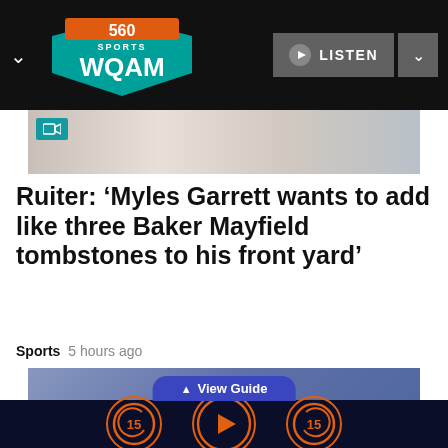[Figure (logo): 560 Sports WQAM radio station logo with shield/badge design in teal, orange and white]
[Figure (photo): Athletes/players photo strip at top of article]
Ruiter: ‘Myles Garrett wants to add like three Baker Mayfield tombstones to his front yard’
Sports  5 hours ago
[Figure (photo): Second article photo showing football player with helmet]
View Guide
[Figure (other): Audio player controls: rewind 15, play, forward 15 buttons in orange circles on dark background]